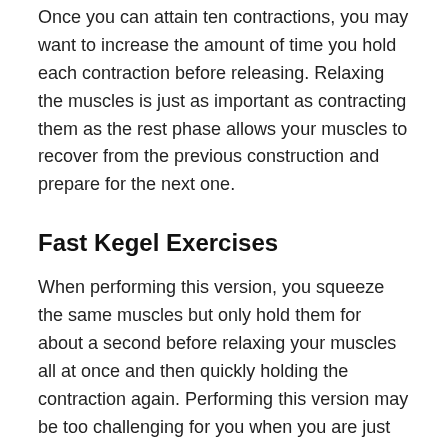Once you can attain ten contractions, you may want to increase the amount of time you hold each contraction before releasing. Relaxing the muscles is just as important as contracting them as the rest phase allows your muscles to recover from the previous construction and prepare for the next one.
Fast Kegel Exercises
When performing this version, you squeeze the same muscles but only hold them for about a second before relaxing your muscles all at once and then quickly holding the contraction again. Performing this version may be too challenging for you when you are just starting. Once again, remember not to hold your breath and stop doing Kegel contractions when you feel you have done enough if you can work your way up to 10. With this version, you can also increase the number of